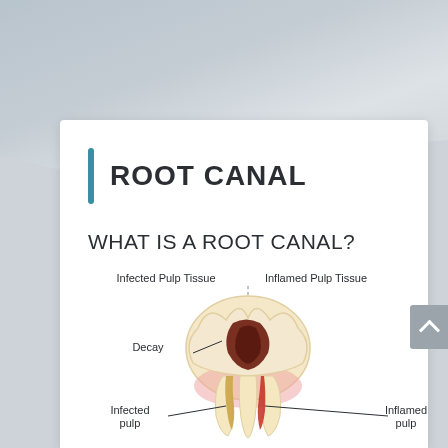ROOT CANAL
WHAT IS A ROOT CANAL?
[Figure (illustration): Cross-section diagram of a tooth showing root canal anatomy. Left side labeled 'Infected Pulp Tissue', right side labeled 'Inflamed Pulp Tissue'. A vertical dashed line divides the two halves. Labels point to: Decay (center-top of tooth interior, dark brown region), Infected pulp (lower left, yellow-brown), Inflamed pulp (lower right, red). The tooth shows enamel, crown, gums, and roots.]